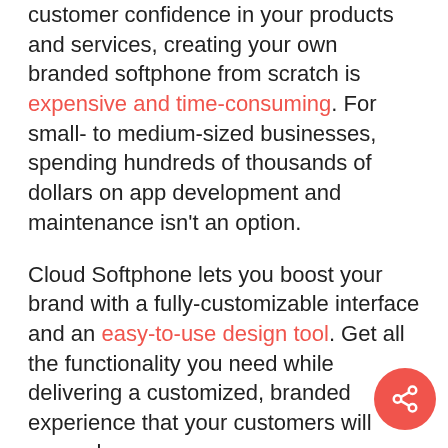customer confidence in your products and services, creating your own branded softphone from scratch is expensive and time-consuming. For small- to medium-sized businesses, spending hundreds of thousands of dollars on app development and maintenance isn't an option.

Cloud Softphone lets you boost your brand with a fully-customizable interface and an easy-to-use design tool. Get all the functionality you need while delivering a customized, branded experience that your customers will remember.